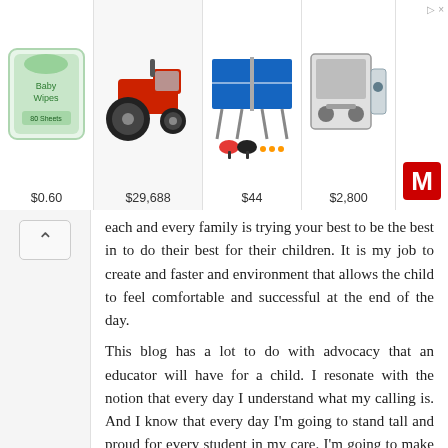[Figure (other): Advertisement banner showing 4 product images with prices: baby wipes $0.60, tractor $29,688, ping pong table $44, machine $2,800, and a logo on the right side with a > x close button]
each and every family is trying your best to be the best in to do their best for their children. It is my job to create and faster and environment that allows the child to feel comfortable and successful at the end of the day.
This blog has a lot to do with advocacy that an educator will have for a child. I resonate with the notion that every day I understand what my calling is. And I know that every day I'm going to stand tall and proud for every student in my care. I'm going to make sure that their day starts and ends on a good note.
What I found most interesting in this blog, was reading about opening up your classroom so that this child and have a safe